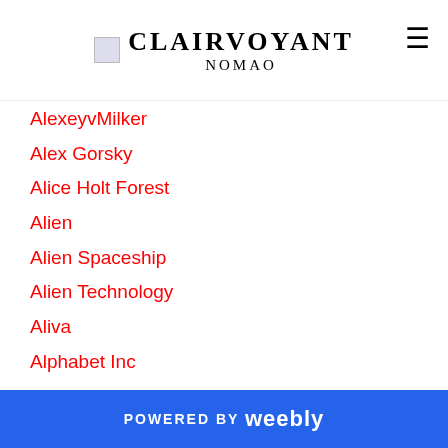CLAIRVOYANT
AlexeyvMilker
Alex Gorsky
Alice Holt Forest
Alien
Alien Spaceship
Alien Technology
Aliva
Alphabet Inc
Amazon
American Financier
America's 51st State
Amin H. Nasser
Amsterdam
Amy For America Campaign
Amy Klobuchar
POWERED BY weebly